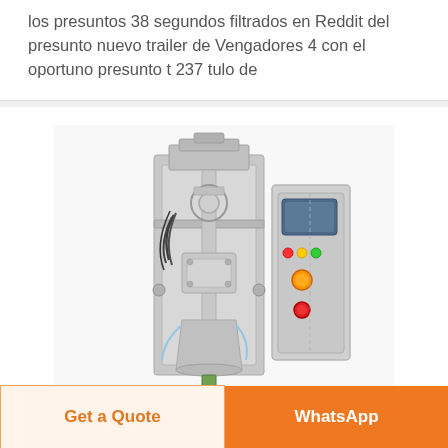los presuntos 38 segundos filtrados en Reddit del presunto nuevo trailer de Vengadores 4 con el oportuno presunto t 237 tulo de
[Figure (photo): Industrial packaging machine — a stainless steel vertical form fill seal (VFFS) machine with a control panel on the right side featuring colored indicator lights and buttons, connected tubing and mechanical components visible in the center column.]
Get a Quote
WhatsApp